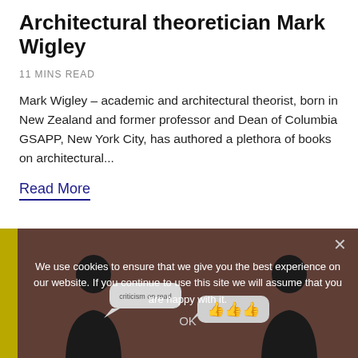Architectural theoretician Mark Wigley
11 MINS READ
Mark Wigley – academic and architectural theorist, born in New Zealand and former professor and Dean of Columbia GSAPP, New York City, has authored a plethora of books on architectural...
Read More
[Figure (illustration): Cookie consent banner overlay on a dark brownish background with an olive/yellow left bar. Two silhouetted figures facing each other with speech bubbles. One bubble contains thumbs-up emoji icons. Text reads: We use cookies to ensure that we give you the best experience on our website. If you continue to use this site we will assume that you are happy with it. OK button visible. Close X in top right.]